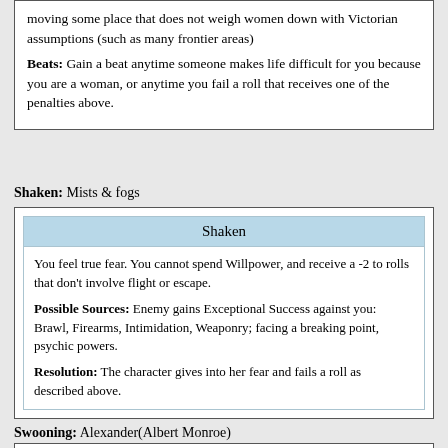moving some place that does not weigh women down with Victorian assumptions (such as many frontier areas)
Beats: Gain a beat anytime someone makes life difficult for you because you are a woman, or anytime you fail a roll that receives one of the penalties above.
Shaken: Mists & fogs
| Shaken |
| --- |
| You feel true fear. You cannot spend Willpower, and receive a -2 to rolls that don't involve flight or escape. |
| Possible Sources: Enemy gains Exceptional Success against you: Brawl, Firearms, Intimidation, Weaponry; facing a breaking point, psychic powers. |
| Resolution: The character gives into her fear and fails a roll as described above. |
Swooning: Alexander(Albert Monroe)